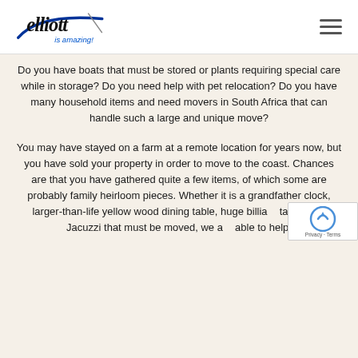elliott is amazing!
Do you have boats that must be stored or plants requiring special care while in storage? Do you need help with pet relocation? Do you have many household items and need movers in South Africa that can handle such a large and unique move?
You may have stayed on a farm at a remote location for years now, but you have sold your property in order to move to the coast. Chances are that you have gathered quite a few items, of which some are probably family heirloom pieces. Whether it is a grandfather clock, larger-than-life yellow wood dining table, huge billiard table, or a Jacuzzi that must be moved, we are able to help.